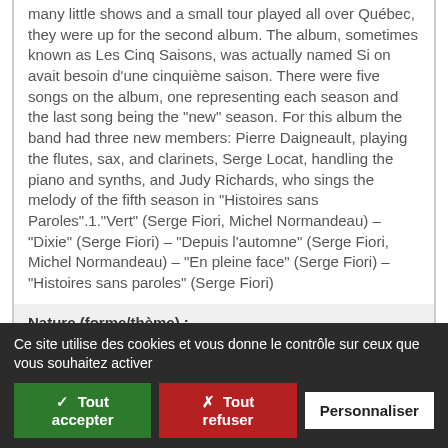many little shows and a small tour played all over Québec, they were up for the second album. The album, sometimes known as Les Cinq Saisons, was actually named Si on avait besoin d'une cinquième saison. There were five songs on the album, one representing each season and the last song being the "new" season. For this album the band had three new members: Pierre Daigneault, playing the flutes, sax, and clarinets, Serge Locat, handling the piano and synths, and Judy Richards, who sings the melody of the fifth season in "Histoires sans Paroles".1."Vert" (Serge Fiori, Michel Normandeau) – "Dixie" (Serge Fiori) – "Depuis l'automne" (Serge Fiori, Michel Normandeau) – "En pleine face" (Serge Fiori) – "Histoires sans paroles" (Serge Fiori)
Nature (forme/thème) :
Rock/World music
Ce site utilise des cookies et vous donne le contrôle sur ceux que vous souhaitez activer